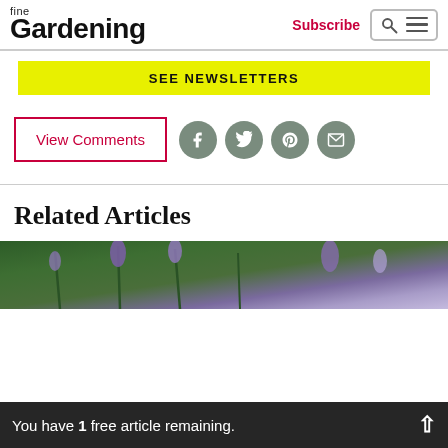fine Gardening
Subscribe
[Figure (screenshot): Search and menu icon button]
[Figure (infographic): Yellow SEE NEWSLETTERS banner]
View Comments
[Figure (infographic): Social share icons: Facebook, Twitter, Pinterest, Email]
Related Articles
[Figure (photo): Lavender flowers with green foliage]
You have 1 free article remaining.